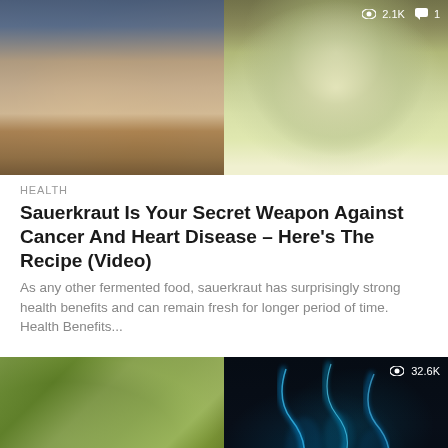[Figure (photo): Two-panel image: left shows hands cutting vegetables on a cutting board; right shows a glass jar filled with sauerkraut/fermented cabbage, with a stats overlay showing 2.1K views and 1 comment]
HEALTH
Sauerkraut Is Your Secret Weapon Against Cancer And Heart Disease – Here's The Recipe (Video)
As any other fermented food, sauerkraut has surprisingly strong health benefits and can remain fresh for longer period of time. Health Benefits...
[Figure (photo): Two-panel image: left shows green leaves/bay leaves; right shows glowing blue smoke or energy tendrils on a black background, with a stats overlay showing 32.6K views]